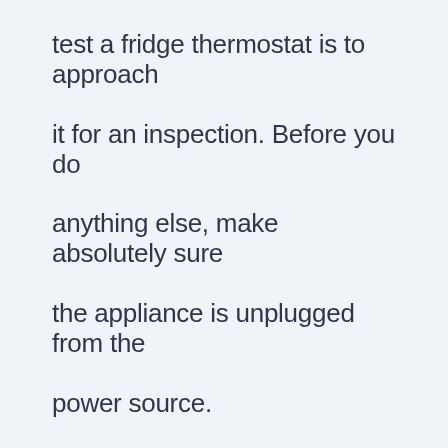test a fridge thermostat is to approach it for an inspection. Before you do anything else, make absolutely sure the appliance is unplugged from the power source.

To make room for accessibility, empty the fridge of its items. Find the thermostat concealed under a plastic